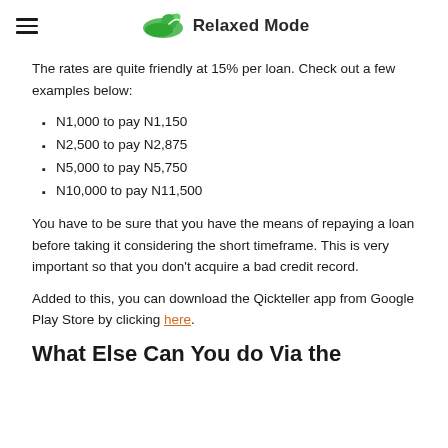Relaxed Mode
The rates are quite friendly at 15% per loan. Check out a few examples below:
N1,000 to pay N1,150
N2,500 to pay N2,875
N5,000 to pay N5,750
N10,000 to pay N11,500
You have to be sure that you have the means of repaying a loan before taking it considering the short timeframe. This is very important so that you don't acquire a bad credit record.
Added to this, you can download the Qickteller app from Google Play Store by clicking here.
What Else Can You do Via the